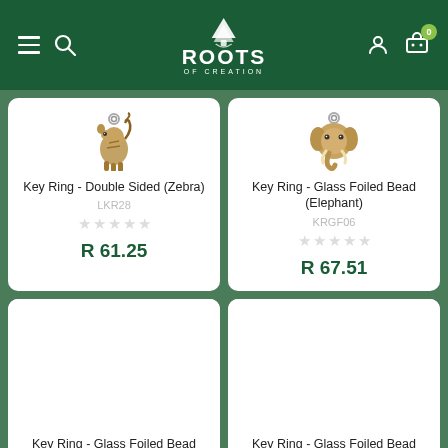Roots of Creation — navigation header with hamburger menu, search, logo, user icon, cart (0)
[Figure (photo): Product photo: bronze zebra key ring charm]
Key Ring - Double Sided (Zebra)
LKR28
R 61.25
[Figure (photo): Product photo: bronze elephant head key ring charm]
Key Ring - Glass Foiled Bead (Elephant)
KRGF06
R 67.51
[Figure (photo): Product image area for Key Ring - Glass Foiled Bead (Giraffe) — image area mostly blank/loading]
Key Ring - Glass Foiled Bead (Giraffe)
[Figure (photo): Product image area for Key Ring - Glass Foiled Bead (Giraffe) — second card, image area mostly blank/loading]
Key Ring - Glass Foiled Bead (Giraffe)